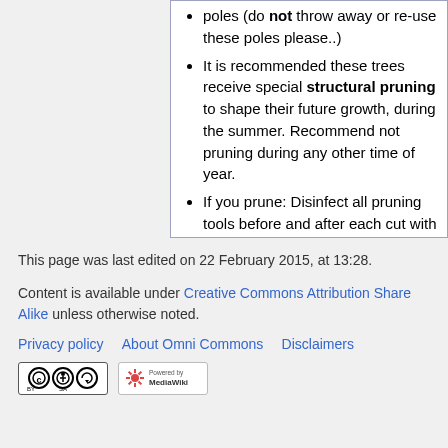poles (do not throw away or re-use these poles please..)
It is recommended these trees receive special structural pruning to shape their future growth, during the summer. Recommend not pruning during any other time of year.
If you prune: Disinfect all pruning tools before and after each cut with a can of Lysol.
More Questions?: Contact DK
This page was last edited on 22 February 2015, at 13:28.
Content is available under Creative Commons Attribution Share Alike unless otherwise noted.
Privacy policy   About Omni Commons   Disclaimers
[Figure (logo): Creative Commons BY-SA license badge]
[Figure (logo): Powered by MediaWiki badge]